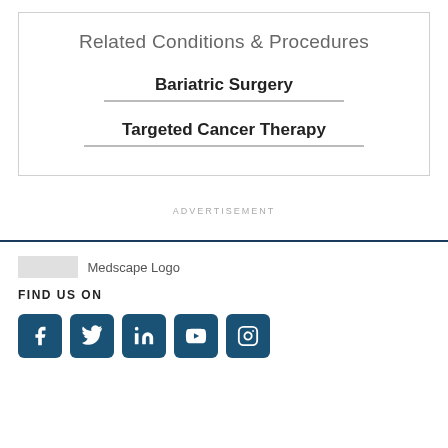Related Conditions & Procedures
Bariatric Surgery
Targeted Cancer Therapy
ADVERTISEMENT
[Figure (logo): Medscape logo placeholder image]
FIND US ON
[Figure (infographic): Social media icons: Facebook, Twitter, LinkedIn, YouTube, Instagram]